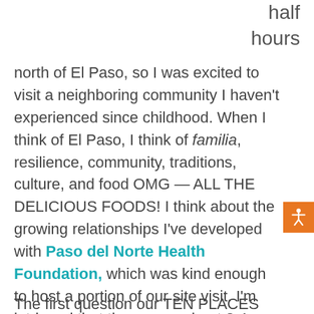half hours north of El Paso, so I was excited to visit a neighboring community I haven't experienced since childhood. When I think of El Paso, I think of familia, resilience, community, traditions, culture, and food OMG — ALL THE DELICIOUS FOODS! I think about the growing relationships I've developed with Paso del Norte Health Foundation, which was kind enough to host a portion of our site visit. I'm intrigued that they serve about 2.4 million people across two countries (the U.S. and Mexico) and three states (Texas, New Mexico, and the Mexican state of Chihuahua).
The first question our TEN PLACES coach Rina